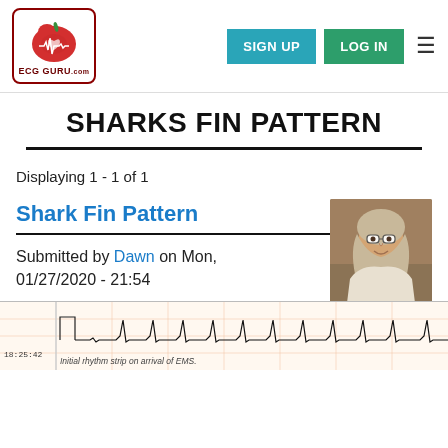ECG GURU - SIGN UP - LOG IN
SHARKS FIN PATTERN
Displaying 1 - 1 of 1
Shark Fin Pattern
Submitted by Dawn on Mon, 01/27/2020 - 21:54
[Figure (other): Author photo - woman with glasses and light hair]
[Figure (other): ECG rhythm strip labeled 'Initial rhythm strip on arrival of EMS.' with timestamp 18:25:42]